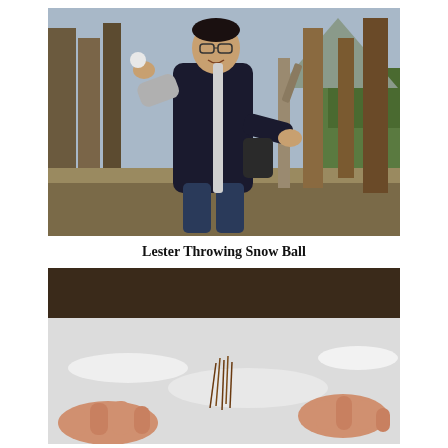[Figure (photo): A young man wearing glasses and a dark jacket poses outdoors among trees, pretending to throw a snowball. Green trees and mountains are visible in the background.]
Lester Throwing Snow Ball
[Figure (photo): Close-up photo of hands gathering snow on the ground, with pine needles visible in the snow.]